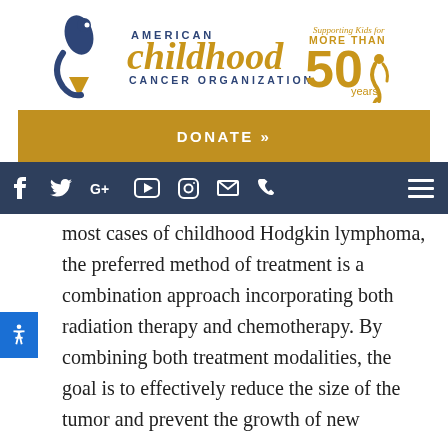[Figure (logo): American Childhood Cancer Organization logo with 'Supporting Kids for MORE THAN 50 years' text]
[Figure (other): Gold DONATE >> button bar]
[Figure (other): Dark blue navigation bar with social media icons (Facebook, Twitter, Google+, YouTube, Instagram, email, phone) and hamburger menu]
most cases of childhood Hodgkin lymphoma, the preferred method of treatment is a combination approach incorporating both radiation therapy and chemotherapy. By combining both treatment modalities, the goal is to effectively reduce the size of the tumor and prevent the growth of new